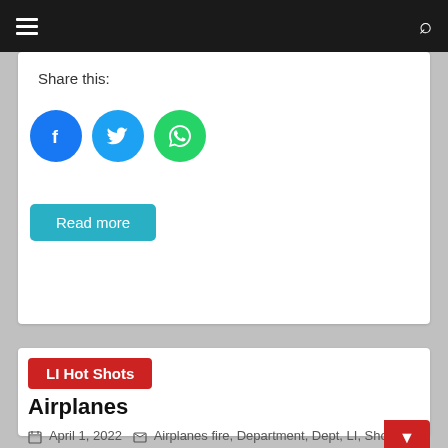Navigation header with hamburger menu and search icon
Share this:
[Figure (other): Social sharing icons: Facebook (blue circle), Twitter (light blue circle), WhatsApp (green circle)]
Read more
LI Hot Shots
Airplanes
April 1, 2022   Airplanes fire, Department, Dept, LI, Shots
Sign-up now - don't miss our weekly digest!
Your email address..
Subscribe